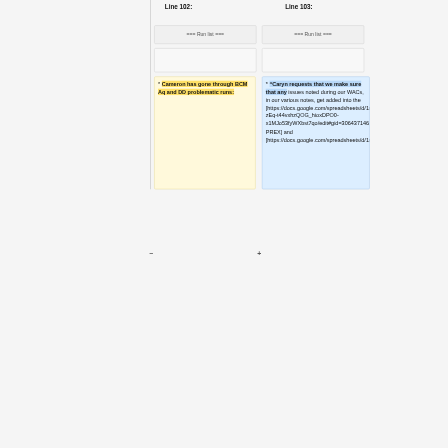Line 102:
Line 103:
=== Run list ===
=== Run list ===
* Cameron has gone through BCM Aq and DD problematic runs:
* "Caryn requests that we make sure that any issues noted during our WACs, in our various notes, get added into the [https://docs.google.com/spreadsheets/d/1n-zEq-t44vxhzQOG_hioxDPO0-x1MJo53fyWXbst7qo/edit#gid=306437146 PREX] and [https://docs.google.com/spreadsheets/d/1mt39fCulW3Pr8TO7fzhtFjmMFt4Op30jMm5wMQke6X